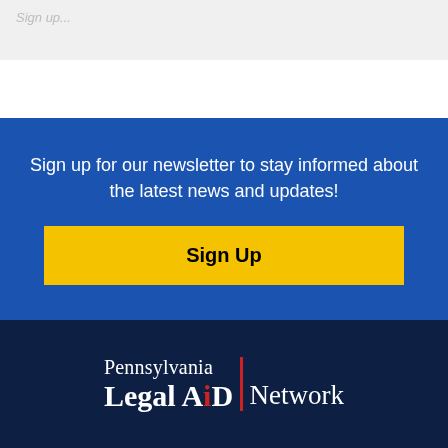Sign up for our newsletter to stay informed about the latest news and updates!
Sign Up
[Figure (logo): Pennsylvania Legal Aid Network logo with red vertical divider bar and red dot in the letter 'i']